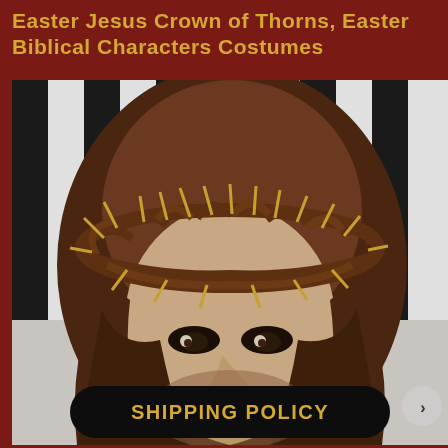Easter Jesus Crown of Thorns, Easter Biblical Characters Costumes
[Figure (photo): Close-up photo of a person wearing a brown long-haired wig and a realistic crown of thorns prop on their head, with dark eye makeup, against a black and white striped background. A 'SHIPPING POLICY' button in gold text on a black rounded rectangle overlay is visible at the bottom of the image, along with a circular arrow navigation button.]